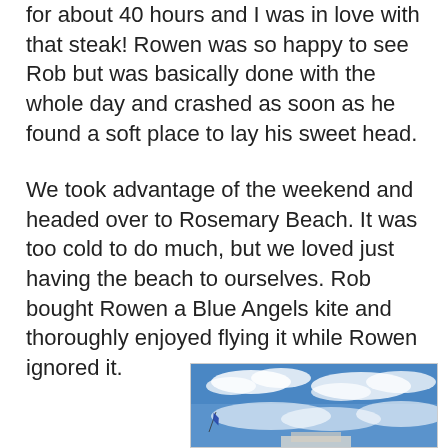for about 40 hours and I was in love with that steak! Rowen was so happy to see Rob but was basically done with the whole day and crashed as soon as he found a soft place to lay his sweet head.
We took advantage of the weekend and headed over to Rosemary Beach. It was too cold to do much, but we loved just having the beach to ourselves. Rob bought Rowen a Blue Angels kite and thoroughly enjoyed flying it while Rowen ignored it.
[Figure (photo): A blue sky with white clouds and a kite visible in the lower left area; a building or structure is partially visible at the bottom of the image.]